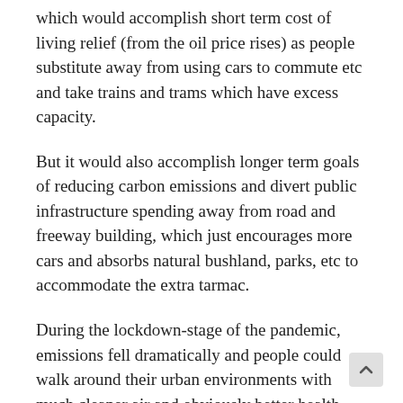which would accomplish short term cost of living relief (from the oil price rises) as people substitute away from using cars to commute etc and take trains and trams which have excess capacity.
But it would also accomplish longer term goals of reducing carbon emissions and divert public infrastructure spending away from road and freeway building, which just encourages more cars and absorbs natural bushland, parks, etc to accommodate the extra tarmac.
During the lockdown-stage of the pandemic, emissions fell dramatically and people could walk around their urban environments with much cleaner air and obviously better health outcomes as a result.
I had lunch with a journalist friend last Thursday in Melbourne and he said in response “well the trains would get overcrowded”. They would get more people on them that currently that is for sure and the government would have an